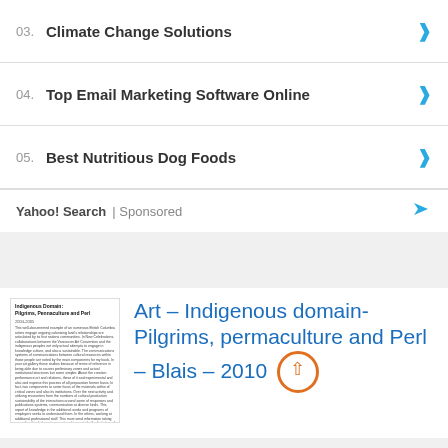03. Climate Change Solutions
04. Top Email Marketing Software Online
05. Best Nutritious Dog Foods
Yahoo! Search | Sponsored
[Figure (screenshot): Thumbnail of document page titled 'Indigenous Domain: Pilgrims, Pennaculture and Perl']
Art – Indigenous domain- Pilgrims, permaculture and Perl – Blais – 2010